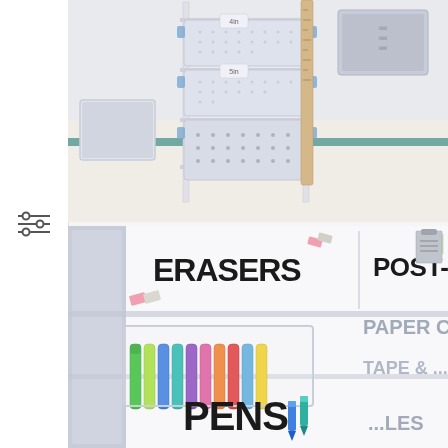[Figure (photo): Photo of white plastic stackable storage bins/baskets on a cart with blue clips, a wooden ruler leaning against the cart, and measurement labels (4in, 5in) visible. A separate white tray is on the left. Background is a light-colored classroom floor.]
[Figure (photo): Photo of classroom supply organizer bins with bold handwritten-style labels. Visible labels include ERASERS with eraser clip art, POST-IT with sticky note icon, PAPER CLIPS, CALLIGRAPHY(?), TAPE(?), and PENS with marker clip art. The bins contain colorful markers/pens.]